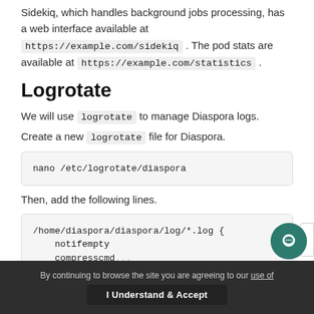Sidekiq, which handles background jobs processing, has a web interface available at https://example.com/sidekiq . The pod stats are available at https://example.com/statistics .
Logrotate
We will use logrotate to manage Diaspora logs.
Create a new logrotate file for Diaspora.
nano /etc/logrotate/diaspora
Then, add the following lines.
/home/diaspora/diaspora/log/*.log {
    notifempty
    compresscmd ...
By continuing to browse the site you are agreeing to our use of [cookies]. I Understand & Accept